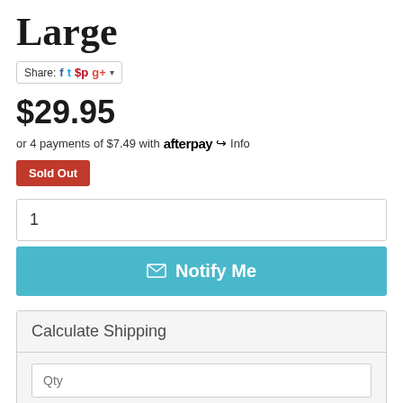Large
Share: [Facebook] [Twitter] [Pinterest] [Google+]
$29.95
or 4 payments of $7.49 with afterpay Info
Sold Out
1
✉ Notify Me
Calculate Shipping
Qty
Australia